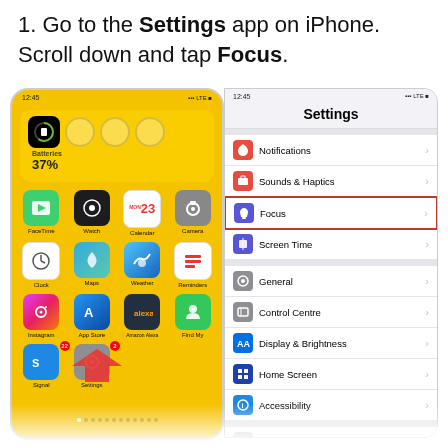1. Go to the Settings app on iPhone. Scroll down and tap Focus.
[Figure (screenshot): Two iPhone screenshots side by side. Left shows iPhone home screen with yellow wallpaper, battery widget showing 37%, app grid with FaceTime, Watch, Calendar, Camera, Clock, Maps, Weather, Reminders, Instagram, App Store, Amazon Alexa, Find My, Signal, Settings apps, and a red arrow pointing to Settings app. Right shows the iOS Settings menu with items: Notifications, Sounds & Haptics, Focus (highlighted with red border), Screen Time, General, Control Centre, Display & Brightness, Home Screen, Accessibility, Wallpaper, Siri & Search.]